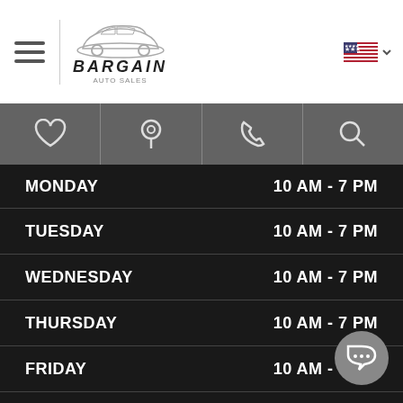[Figure (logo): Bargain Motors logo with car graphic and text BARGAIN in italic bold]
[Figure (infographic): Navigation icon bar with heart, location pin, phone, and search icons on grey background]
| DAY | HOURS |
| --- | --- |
| MONDAY | 10 AM - 7 PM |
| TUESDAY | 10 AM - 7 PM |
| WEDNESDAY | 10 AM - 7 PM |
| THURSDAY | 10 AM - 7 PM |
| FRIDAY | 10 AM - 7 PM |
| SATURDAY | 10 AM - 7 PM |
| SUNDAY | 11 AM - 5 PM |